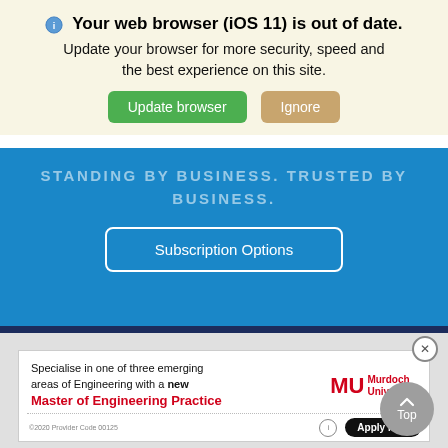🔵 Your web browser (iOS 11) is out of date. Update your browser for more security, speed and the best experience on this site.
[Figure (screenshot): Browser update warning banner with two buttons: 'Update browser' (green) and 'Ignore' (tan/golden). Below it is a blue section with partially visible text 'STANDING BY BUSINESS. TRUSTED BY BUSINESS.' and a 'Subscription Options' button outline. Below the blue section is a gray area with an advertisement for Murdoch University Master of Engineering Practice, with red text and an 'Apply Now' button. A 'Top' scroll-to-top button appears at bottom right.]